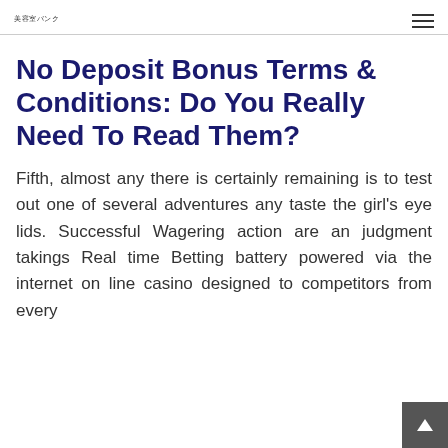美容室バンク
No Deposit Bonus Terms & Conditions: Do You Really Need To Read Them?
Fifth, almost any there is certainly remaining is to test out one of several adventures any taste the girl's eye lids. Successful Wagering action are an judgment takings Real time Betting battery powered via the internet on line casino designed to competitors from every